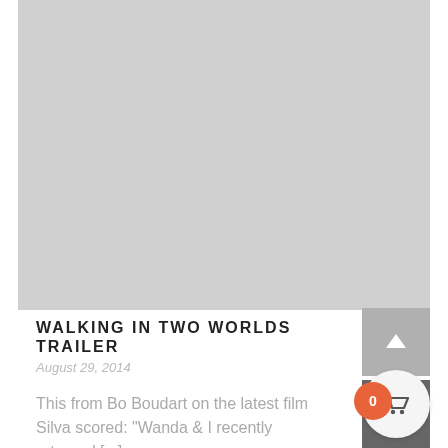[Figure (photo): Large light gray placeholder image area at the top of the page]
WALKING IN TWO WORLDS TRAILER
August 29, 2014
This from Bo Boudart on the latest film Silva scored: “Wanda & I recently returned […]